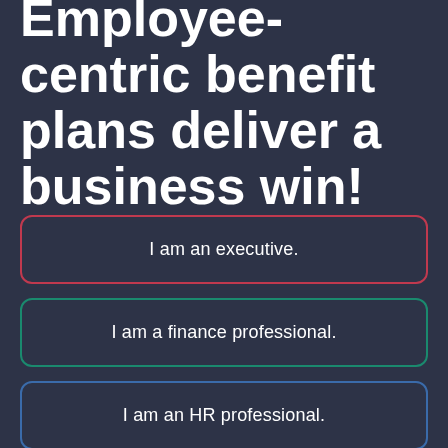Employee-centric benefit plans deliver a business win!
I am an executive.
I am a finance professional.
I am an HR professional.